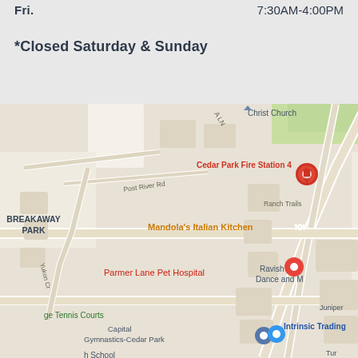Fri.  7:30AM-4:00PM
*Closed Saturday & Sunday
[Figure (map): Google Maps screenshot showing area around Parmer Lane Pet Hospital in Cedar Park, TX. Visible locations include: Cedar Park Fire Station 4, Mandola's Italian Kitchen, Parmer Lane Pet Hospital (red pin), Capital Gymnastics-Cedar Park, Intrinsic Trading, Breakaway Park neighborhood, Ranch Trails, Post River Rd, Yukon Cr road, ge Tennis Courts, h School, Ravish Dance and M, Christ Church, Juniper.]